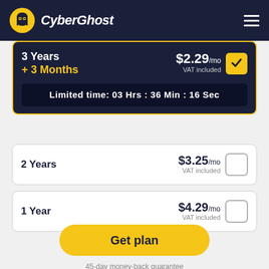CyberGhost
3 Years + 3 Months — $2.29/mo VAT included — Selected
Limited time: 03 Hrs : 36 Min : 16 Sec
2 Years — $3.25/mo VAT included
1 Year — $4.29/mo VAT included
Get plan
45-day money-back guarantee